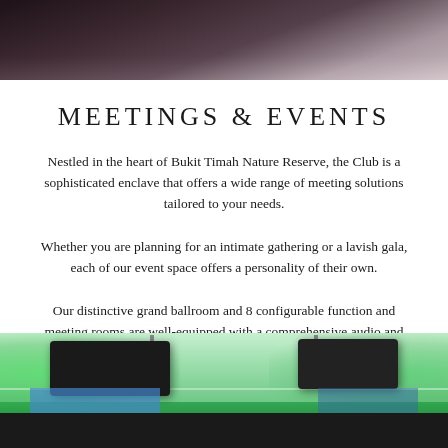[Figure (photo): Dark overhead photo showing what appears to be a ceiling or table surface with dim lighting, brownish-purple tones]
MEETINGS & EVENTS
Nestled in the heart of Bukit Timah Nature Reserve, the Club is a sophisticated enclave that offers a wide range of meeting solutions tailored to your needs.
Whether you are planning for an intimate gathering or a lavish gala, each of our event space offers a personality of their own.
Our distinctive grand ballroom and 8 configurable function and meeting rooms are well-equipped with a comprehensive audio and visual system, making it the preferred venue for business functions, weddings and social events.
[Figure (photo): Photo of an event space or function room interior showing ceiling-mounted speakers/projectors against a green-lit background, with dark floor-level equipment visible at the bottom]